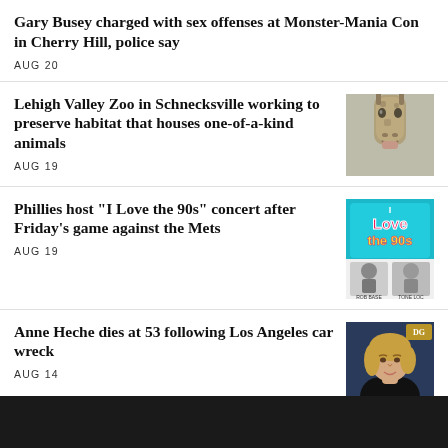Gary Busey charged with sex offenses at Monster-Mania Con in Cherry Hill, police say
AUG 20
Lehigh Valley Zoo in Schnecksville working to preserve habitat that houses one-of-a-kind animals
AUG 19
[Figure (photo): Close-up photo of a giraffe's face looking down]
Phillies host "I Love the 90s" concert after Friday's game against the Mets
AUG 19
[Figure (photo): I Love the 90s concert promotional image with Rob Base and Tone Loc]
Anne Heche dies at 53 following Los Angeles car wreck
AUG 14
[Figure (photo): Photo of Anne Heche at a formal event]